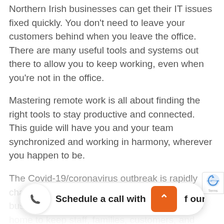Northern Irish businesses can get their IT issues fixed quickly. You don't need to leave your customers behind when you leave the office. There are many useful tools and systems out there to allow you to keep working, even when you're not in the office.
Mastering remote work is all about finding the right tools to stay productive and connected. This guide will have you and your team synchronized and working in harmony, wherever you happen to be.
The Covid-19/coronavirus outbreak is rapidly changing the way we work. More and more businesses are encouraging staff to work from home to keep staff, families, customers, and communities safe during a challenging time.
As... ks lik... B... nc... f our home for some time, businesses need to take urgent...
[Figure (screenshot): A floating bottom bar overlay with a phone icon circle button on the left, text 'Schedule a call with' in bold, an orange rounded-rectangle button with an upward chevron arrow, and the text 'f our' to the right. This is a call-to-action widget overlaid on the page.]